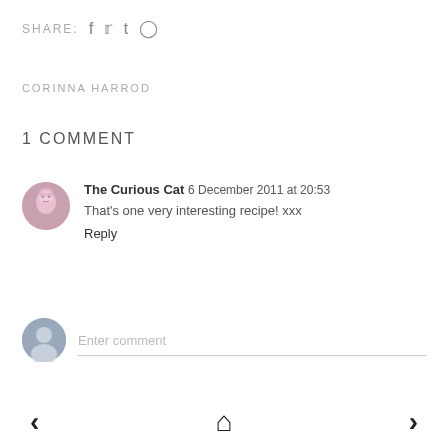SHARE: f t p
CORINNA HARROD
1 COMMENT
The Curious Cat 6 December 2011 at 20:53
That's one very interesting recipe! xxx
Reply
Enter comment
< home >